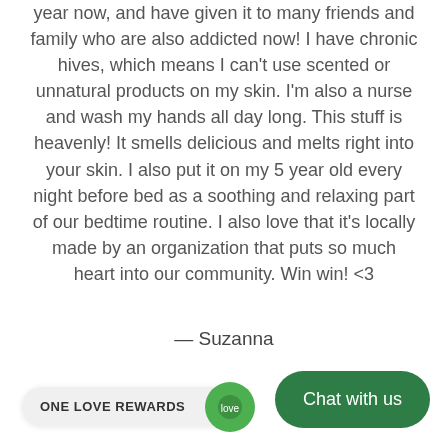year now, and have given it to many friends and family who are also addicted now! I have chronic hives, which means I can't use scented or unnatural products on my skin. I'm also a nurse and wash my hands all day long. This stuff is heavenly! It smells delicious and melts right into your skin. I also put it on my 5 year old every night before bed as a soothing and relaxing part of our bedtime routine. I also love that it's locally made by an organization that puts so much heart into our community. Win win! <3
— Suzanna
[Figure (other): ONE LOVE REWARDS button with green circular icon]
[Figure (other): Chat with us green rounded button]